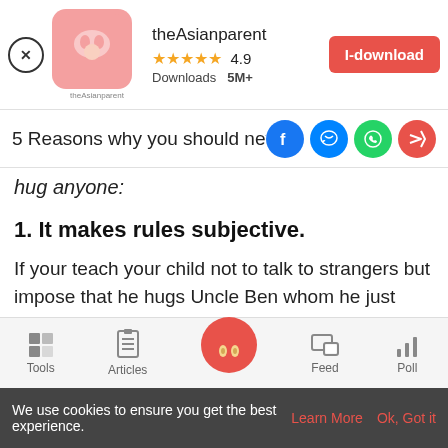[Figure (screenshot): App ad banner for theAsianparent with app icon, star rating 4.9, Downloads 5M+, and I-download button]
5 Reasons why you should never force hug anyone:
1. It makes rules subjective.
If your teach your child not to talk to strangers but impose that he hugs Uncle Ben whom he just met, which technically makes him a stranger, then the protective measures you've
[Figure (screenshot): Bottom navigation bar with Tools, Articles, center home button, Feed, Poll icons]
We use cookies to ensure you get the best experience. Learn More  Ok, Got it